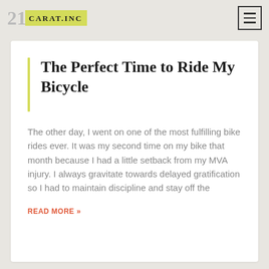21 CARAT.INC
The Perfect Time to Ride My Bicycle
The other day, I went on one of the most fulfilling bike rides ever. It was my second time on my bike that month because I had a little setback from my MVA injury. I always gravitate towards delayed gratification so I had to maintain discipline and stay off the
READ MORE »